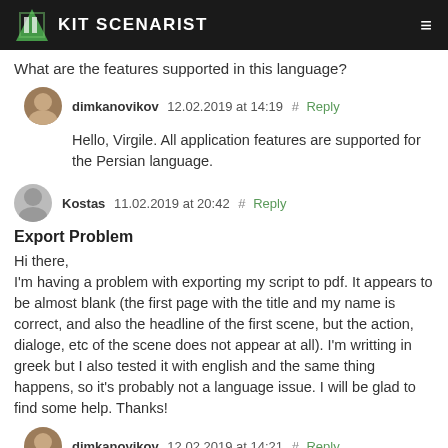KIT SCENARIST
What are the features supported in this language?
dimkanovikov  12.02.2019 at 14:19  #  Reply
Hello, Virgile. All application features are supported for the Persian language.
Kostas  11.02.2019 at 20:42  #  Reply
Export Problem
Hi there,
I'm having a problem with exporting my script to pdf. It appears to be almost blank (the first page with the title and my name is correct, and also the headline of the first scene, but the action, dialoge, etc of the scene does not appear at all). I'm writting in greek but I also tested it with english and the same thing happens, so it's probably not a language issue. I will be glad to find some help. Thanks!
dimkanovikov  12.02.2019 at 14:21  #  Reply